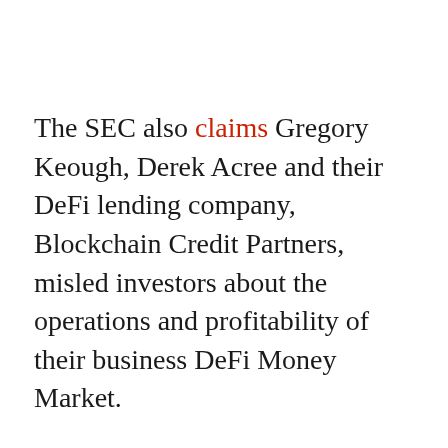The SEC also claims Gregory Keough, Derek Acree and their DeFi lending company, Blockchain Credit Partners, misled investors about the operations and profitability of their business DeFi Money Market.